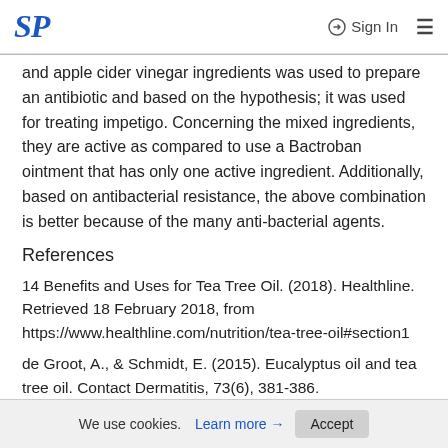SP | Sign In
and apple cider vinegar ingredients was used to prepare an antibiotic and based on the hypothesis; it was used for treating impetigo. Concerning the mixed ingredients, they are active as compared to use a Bactroban ointment that has only one active ingredient. Additionally, based on antibacterial resistance, the above combination is better because of the many anti-bacterial agents.
References
14 Benefits and Uses for Tea Tree Oil. (2018). Healthline. Retrieved 18 February 2018, from https://www.healthline.com/nutrition/tea-tree-oil#section1
de Groot, A., & Schmidt, E. (2015). Eucalyptus oil and tea tree oil. Contact Dermatitis, 73(6), 381-386. http://dx.doi.org/10.1111/cod.12450
We use cookies. Learn more → Accept